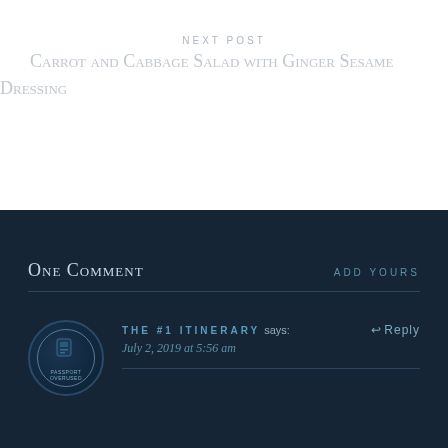NEXT POST
Carrot and Cabbage Salad with Ginger Sesame Dressing
One Comment
ADD YOURS
[Figure (illustration): Circular avatar with passport/travel logo, dark background with circular ring design]
THE #1 ITINERARY says:
↩ Reply
July 2, 2019 at 5:56 am